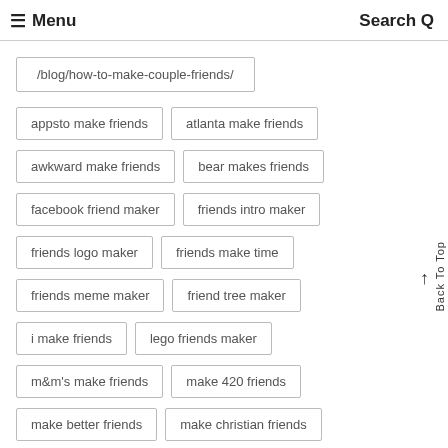≡ Menu   Search Q
/blog/how-to-make-couple-friends/
appsto make friends
atlanta make friends
awkward make friends
bear makes friends
facebook friend maker
friends intro maker
friends logo maker
friends make time
friends meme maker
friend tree maker
i make friends
lego friends maker
m&m's make friends
make 420 friends
make better friends
make christian friends